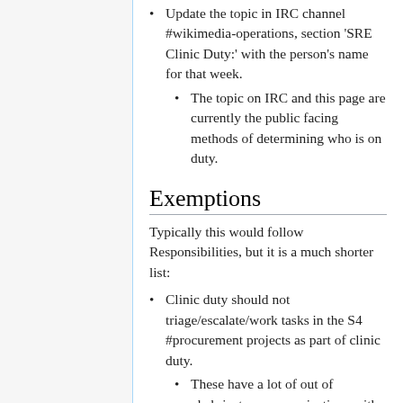Update the topic in IRC channel #wikimedia-operations, section 'SRE Clinic Duty:' with the person's name for that week.
The topic on IRC and this page are currently the public facing methods of determining who is on duty.
Exemptions
Typically this would follow Responsibilities, but it is a much shorter list:
Clinic duty should not triage/escalate/work tasks in the S4 #procurement projects as part of clinic duty.
These have a lot of out of phabricator communications with